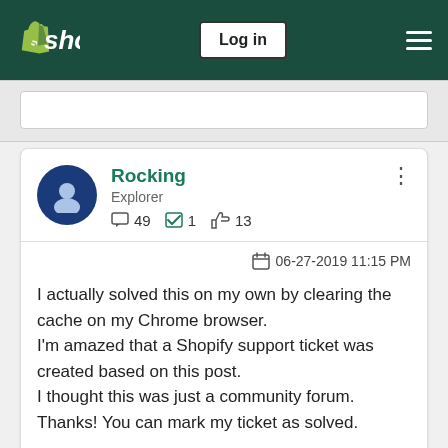Shopify  Log in
Rocking
Explorer
49  1  13
06-27-2019 11:15 PM
I actually solved this on my own by clearing the cache on my Chrome browser.
I'm amazed that a Shopify support ticket was created based on this post.
I thought this was just a community forum.
Thanks! You can mark my ticket as solved.